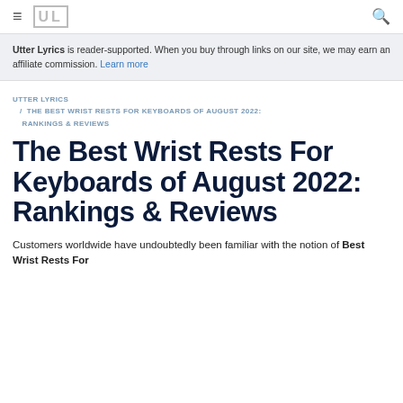≡  UL  🔍
Utter Lyrics is reader-supported. When you buy through links on our site, we may earn an affiliate commission. Learn more
UTTER LYRICS / THE BEST WRIST RESTS FOR KEYBOARDS OF AUGUST 2022: RANKINGS & REVIEWS
The Best Wrist Rests For Keyboards of August 2022: Rankings & Reviews
Customers worldwide have undoubtedly been familiar with the notion of Best Wrist Rests For